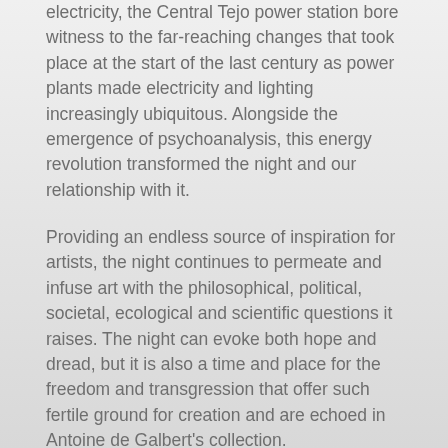electricity, the Central Tejo power station bore witness to the far-reaching changes that took place at the start of the last century as power plants made electricity and lighting increasingly ubiquitous. Alongside the emergence of psychoanalysis, this energy revolution transformed the night and our relationship with it.
Providing an endless source of inspiration for artists, the night continues to permeate and infuse art with the philosophical, political, societal, ecological and scientific questions it raises. The night can evoke both hope and dread, but it is also a time and place for the freedom and transgression that offer such fertile ground for creation and are echoed in Antoine de Galbert's collection.
Arranged in a way that represents the passage from dawn to dusk, from blindness and disorientation to better days on the horizon, from nocturnal dreams to the cosmic night, the exhibition invites visitors to traverse this nocturnal space,